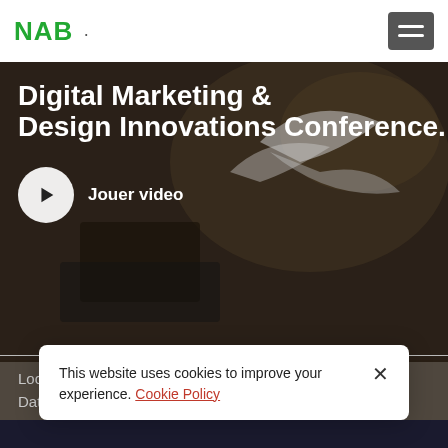NAB
Digital Marketing & Design Innovations Conference.
Jouer video
Location: UK, London, Baker Street 23
Date: 15-19 June 2021
Speaker: Havier Ernandes, CEO
This website uses cookies to improve your experience. Cookie Policy